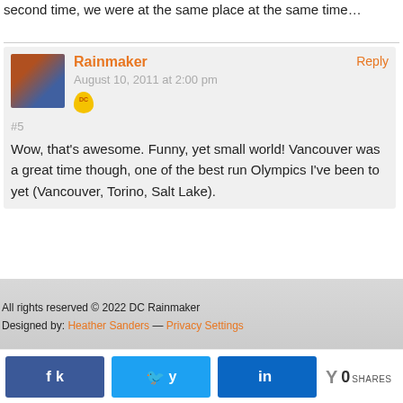second time, we were at the same place at the same time…
Rainmaker
August 10, 2011 at 2:00 pm
#5
Wow, that's awesome. Funny, yet small world! Vancouver was a great time though, one of the best run Olympics I've been to yet (Vancouver, Torino, Salt Lake).
All rights reserved © 2022 DC Rainmaker
Designed by: Heather Sanders — Privacy Settings
0 SHARES